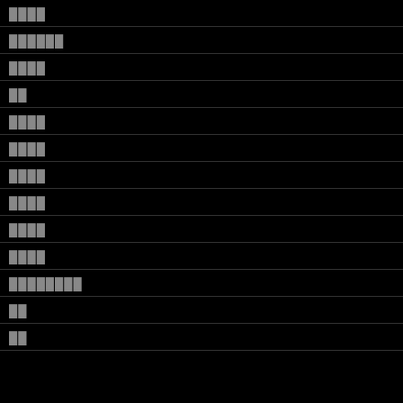████
██████
████
██
████
████
████
████
████
████
████████
██
██